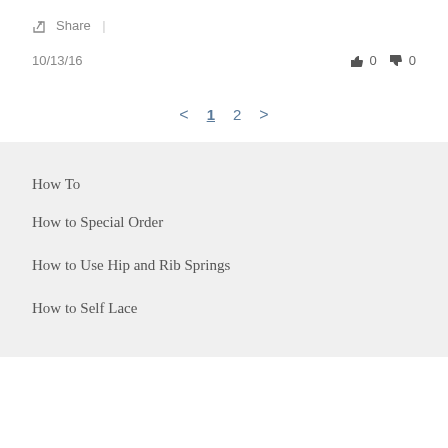Share |
10/13/16  👍 0  👎 0
< 1 2 >
How To
How to Special Order
How to Use Hip and Rib Springs
How to Self Lace